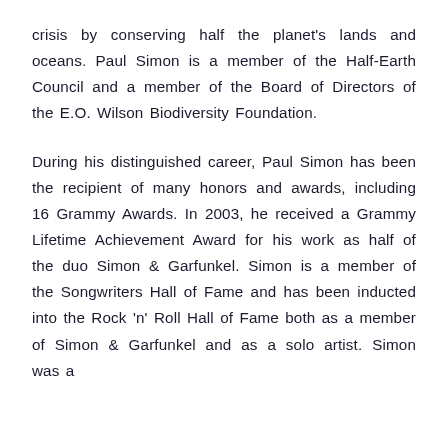crisis by conserving half the planet's lands and oceans. Paul Simon is a member of the Half-Earth Council and a member of the Board of Directors of the E.O. Wilson Biodiversity Foundation.
During his distinguished career, Paul Simon has been the recipient of many honors and awards, including 16 Grammy Awards. In 2003, he received a Grammy Lifetime Achievement Award for his work as half of the duo Simon & Garfunkel. Simon is a member of the Songwriters Hall of Fame and has been inducted into the Rock 'n' Roll Hall of Fame both as a member of Simon & Garfunkel and as a solo artist. Simon was a